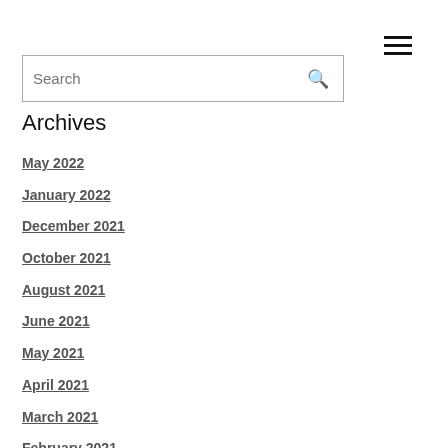≡
Search
Archives
May 2022
January 2022
December 2021
October 2021
August 2021
June 2021
May 2021
April 2021
March 2021
February 2021
January 2021
December 2020
November 2020